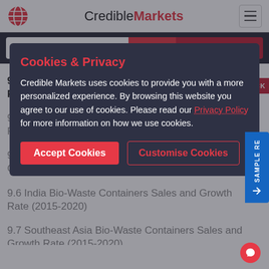CredibleMarkets
Search Report Title | Search | Advanced Search
9.3 China Bio-Waste Containers Sales and Growth Rate (2015-2020)
9.4 Japan Bio-Waste Containers Sales and Growth Rate
9.5 South Korea Bio-Waste Containers Sales and Growth Rate (2015-2020)
9.6 India Bio-Waste Containers Sales and Growth Rate (2015-2020)
9.7 Southeast Asia Bio-Waste Containers Sales and Growth Rate (2015-2020)
9.8 Australia Bio-Waste Containers Sales and
Cookies & Privacy
Credible Markets uses cookies to provide you with a more personalized experience. By browsing this website you agree to our use of cookies. Please read our Privacy Policy for more information on how we use cookies.
Accept Cookies | Customise Cookies